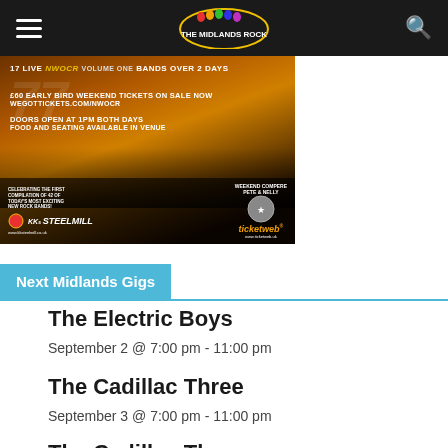The Midlands Rock
[Figure (photo): Concert event advertisement for NWOCR Volume One - 17 live bands over 2 days, early bird weekend tickets, KK's Steelmill, Ticketweb]
Next Midlands Gigs
The Electric Boys
September 2 @ 7:00 pm - 11:00 pm
The Cadillac Three
September 3 @ 7:00 pm - 11:00 pm
The Cadillac Three